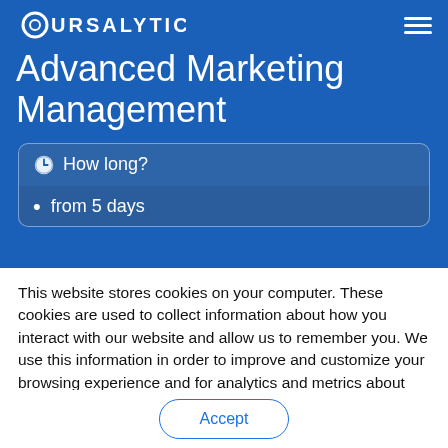COURSALYTICS
Advanced Marketing Management
How long?
from 5 days
This website stores cookies on your computer. These cookies are used to collect information about how you interact with our website and allow us to remember you. We use this information in order to improve and customize your browsing experience and for analytics and metrics about our visitors both on this website and other media. To find out more about the cookies we use, see our Privacy Policy.
Accept